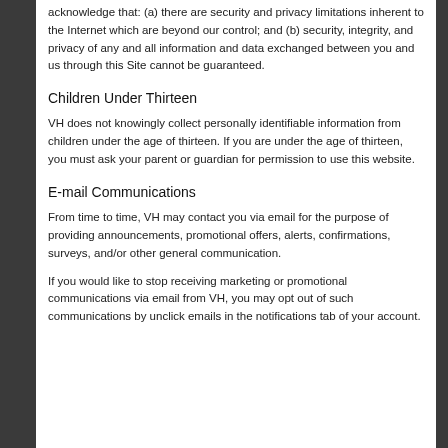acknowledge that: (a) there are security and privacy limitations inherent to the Internet which are beyond our control; and (b) security, integrity, and privacy of any and all information and data exchanged between you and us through this Site cannot be guaranteed.
Children Under Thirteen
VH does not knowingly collect personally identifiable information from children under the age of thirteen. If you are under the age of thirteen, you must ask your parent or guardian for permission to use this website.
E-mail Communications
From time to time, VH may contact you via email for the purpose of providing announcements, promotional offers, alerts, confirmations, surveys, and/or other general communication.
If you would like to stop receiving marketing or promotional communications via email from VH, you may opt out of such communications by unclick emails in the notifications tab of your account.